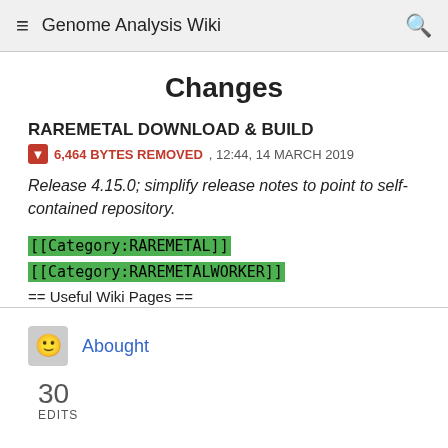Genome Analysis Wiki
Changes
RAREMETAL DOWNLOAD & BUILD
6,464 BYTES REMOVED , 12:44, 14 MARCH 2019
Release 4.15.0; simplify release notes to point to self-contained repository.
[[Category:RAREMETAL]]
[[Category:RAREMETALWORKER]]
== Useful Wiki Pages ==
Abought
30
EDITS